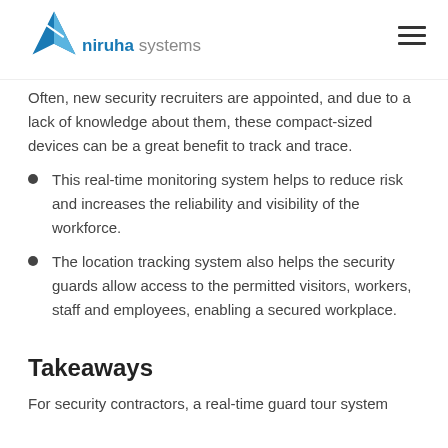niruha systems
Often, new security recruiters are appointed, and due to a lack of knowledge about them, these compact-sized devices can be a great benefit to track and trace.
This real-time monitoring system helps to reduce risk and increases the reliability and visibility of the workforce.
The location tracking system also helps the security guards allow access to the permitted visitors, workers, staff and employees, enabling a secured workplace.
Takeaways
For security contractors, a real-time guard tour system